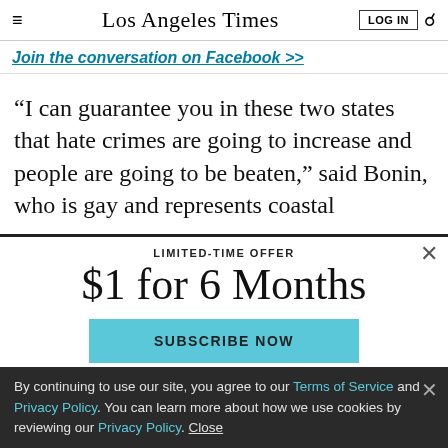Los Angeles Times — LOG IN [search]
Join the conversation on Facebook >>
“I can guarantee you in these two states that hate crimes are going to increase and people are going to be beaten,” said Bonin, who is gay and represents coastal
LIMITED-TIME OFFER
$1 for 6 Months
SUBSCRIBE NOW
By continuing to use our site, you agree to our Terms of Service and Privacy Policy. You can learn more about how we use cookies by reviewing our Privacy Policy. Close